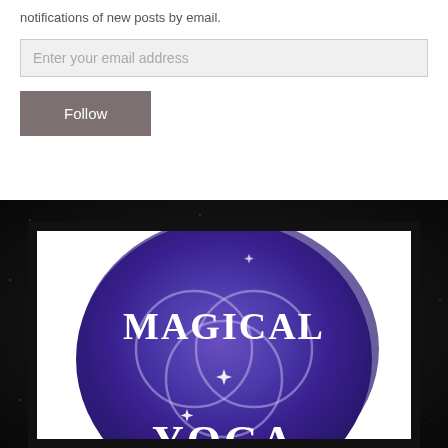notifications of new posts by email.
Enter your email address
Follow
[Figure (logo): Magical Yoga logo — white text 'MAGICAL' and 'YOGA' on a blue/purple watercolor circle with overlapping circle mystical symbol and star sparkles]